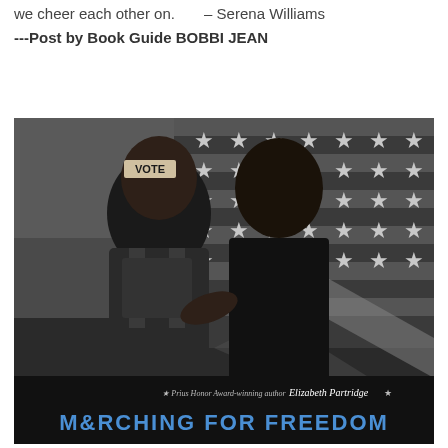we cheer each other on.       – Serena Williams
---Post by Book Guide BOBBI JEAN
[Figure (photo): Black and white photograph of young Black men at a civil rights march, one with 'VOTE' written on his forehead, standing in front of an American flag. Book cover of 'Marching for Freedom' by Elizabeth Partridge, Prius Honor Award-winning author, with blue text at bottom.]